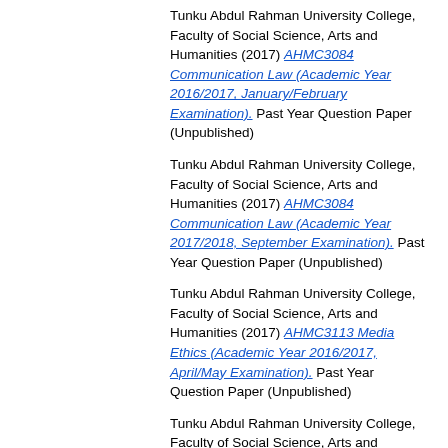Tunku Abdul Rahman University College, Faculty of Social Science, Arts and Humanities (2017) AHMC3084 Communication Law (Academic Year 2016/2017, January/February Examination). Past Year Question Paper (Unpublished)
Tunku Abdul Rahman University College, Faculty of Social Science, Arts and Humanities (2017) AHMC3084 Communication Law (Academic Year 2017/2018, September Examination). Past Year Question Paper (Unpublished)
Tunku Abdul Rahman University College, Faculty of Social Science, Arts and Humanities (2017) AHMC3113 Media Ethics (Academic Year 2016/2017, April/May Examination). Past Year Question Paper (Unpublished)
Tunku Abdul Rahman University College, Faculty of Social Science, Arts and Humanities (2017) AHMC3113 Media Ethics (Academic Year 2017/2018, September Examination). Past Year Question Paper (Unpublished)
Tunku Abdul Rahman University College, Faculty of Social Science, Arts and Humanities (2017) AHMC3144 Copy Editing...